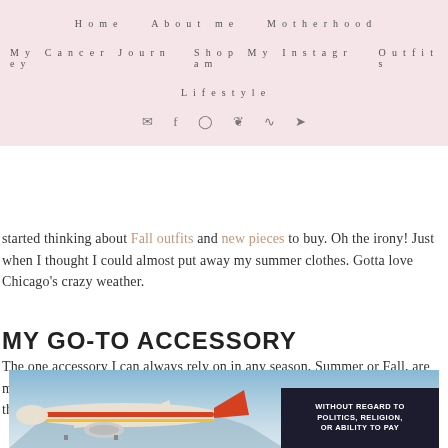Home   About me   Motherhood   My Cancer Journey   Shop My Instagram   Outfits   Lifestyle
started thinking about Fall outfits and new pieces to buy. Oh the irony! Just when I thought I could almost put away my summer clothes. Gotta love Chicago's crazy weather.
MY GO-TO ACCESSORY
The one accessory I can always rely on in any season, Summer or Fall, are my sunglasses. As you can tell by almost every outfit post, I always have them on. I just can't get enough of them,
[Figure (photo): Advertisement banner showing an airplane being loaded on a tarmac with a dark overlay panel showing text 'WITHOUT REGARD TO POLITICS, RELIGION, OR ABILITY TO PAY']